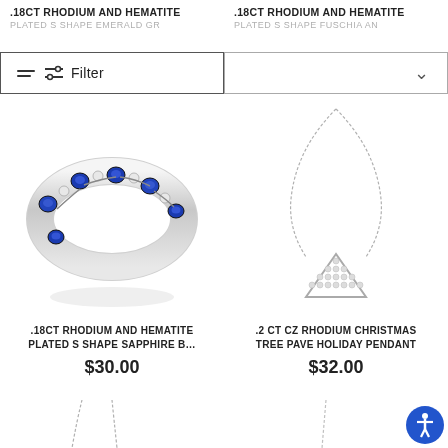.18CT RHODIUM AND HEMATITE PLATED S SHAPE EMERALD GR
.18CT RHODIUM AND HEMATITE PLATED S SHAPE FUSCHIA AN
Filter
[Figure (photo): Blue sapphire and diamond rhodium plated S-shape band ring on white background]
[Figure (photo): Silver Christmas tree pave pendant on a chain necklace on white background]
.18CT RHODIUM AND HEMATITE PLATED S SHAPE SAPPHIRE B…
.2 CT CZ RHODIUM CHRISTMAS TREE PAVE HOLIDAY PENDANT
$30.00
$32.00
[Figure (photo): Partial view of a silver necklace chain at bottom left]
[Figure (photo): Partial view of a silver chain at bottom right]